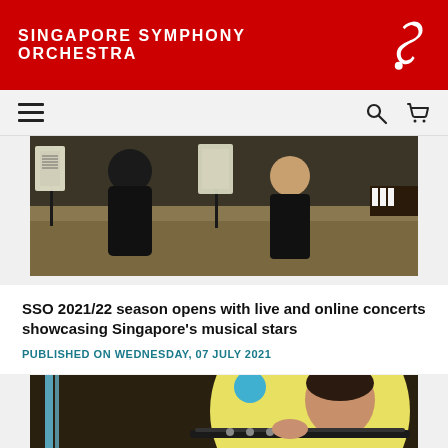SINGAPORE SYMPHONY ORCHESTRA
[Figure (photo): Orchestra musicians rehearsing, view from above showing musicians at stands with sheet music]
SSO 2021/22 season opens with live and online concerts showcasing Singapore's musical stars
PUBLISHED ON WEDNESDAY, 07 JULY 2021
[Figure (photo): Close-up of a musician playing a flute or wind instrument, with a yellow circular backdrop and blue decorative elements]